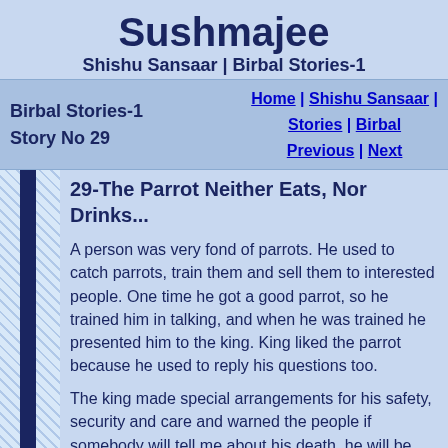Sushmajee
Shishu Sansaar | Birbal Stories-1
Birbal Stories-1  Story No 29   Home | Shishu Sansaar | Stories | Birbal  Previous | Next
29-The Parrot Neither Eats, Nor Drinks...
A person was very fond of parrots. He used to catch parrots, train them and sell them to interested people. One time he got a good parrot, so he trained him in talking, and when he was trained he presented him to the king. King liked the parrot because he used to reply his questions too.
The king made special arrangements for his safety, security and care and warned the people if somebody will tell me about his death, he will be hung. Hearing this the parrot was kept under very special care. But it so happened one day that